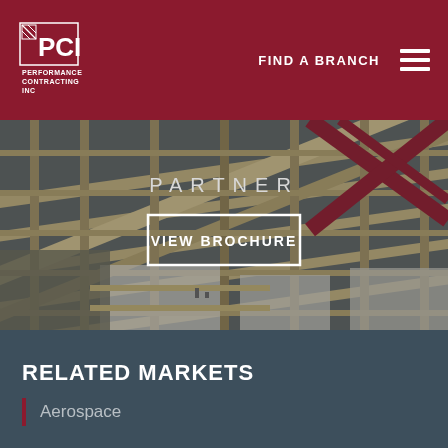PCI Performance Contracting Inc — FIND A BRANCH
[Figure (illustration): 3D rendering/illustration of steel framing and structural construction interior with beams and supports viewed from above at an angle. Text overlays: PARTNER and VIEW BROCHURE button.]
RELATED MARKETS
Aerospace